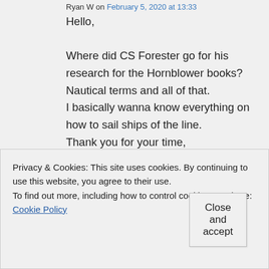Ryan W on February 5, 2020 at 13:33
Hello,

Where did CS Forester go for his research for the Hornblower books?
Nautical terms and all of that.
I basically wanna know everything on how to sail ships of the line.
Thank you for your time,

Ryan
Privacy & Cookies: This site uses cookies. By continuing to use this website, you agree to their use.
To find out more, including how to control cookies, see here: Cookie Policy